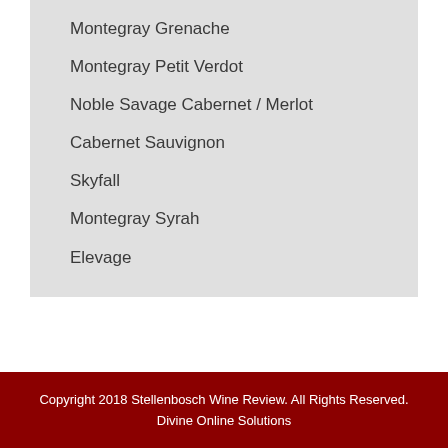Montegray Grenache
Montegray Petit Verdot
Noble Savage Cabernet / Merlot
Cabernet Sauvignon
Skyfall
Montegray Syrah
Elevage
Copyright 2018 Stellenbosch Wine Review. All Rights Reserved.
Divine Online Solutions